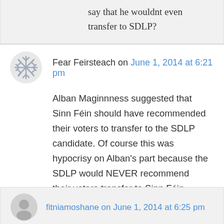say that he wouldnt even transfer to SDLP?
Fear Feirsteach on June 1, 2014 at 6:21 pm
Alban Maginnness suggested that Sinn Féin should have recommended their voters to transfer to the SDLP candidate. Of course this was hypocrisy on Alban's part because the SDLP would NEVER recommend their voters transfer to Sinn Féin.
↳ Reply
fitniamoshane on June 1, 2014 at 6:25 pm